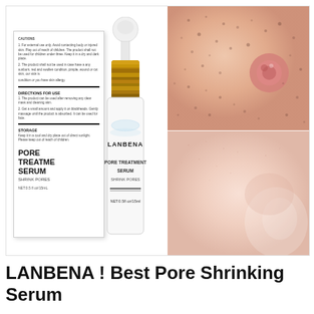[Figure (photo): LANBENA Pore Treatment Serum product image showing the white box packaging, dropper bottle with gold cap, and two close-up skin photos showing enlarged pores (before) and smoother skin (after).]
LANBENA ! Best Pore Shrinking Serum